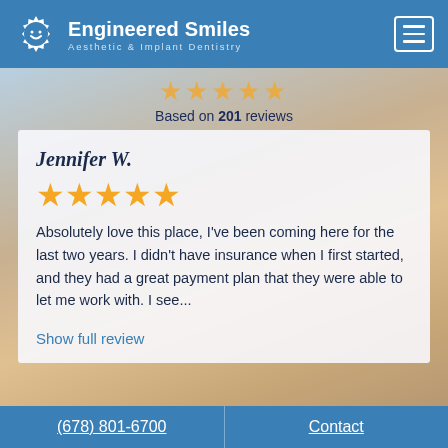[Figure (logo): Engineered Smiles logo with gear/smile icon on blue header bar]
Engineered Smiles
Aesthetic & Implant Dentistry
Based on 201 reviews
Jennifer W.
★★★★★
Absolutely love this place, I've been coming here for the last two years. I didn't have insurance when I first started, and they had a great payment plan that they were able to let me work with. I see...
Show full review
Edward G.
(678) 801-6700    Contact